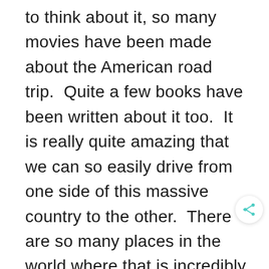to think about it, so many movies have been made about the American road trip.  Quite a few books have been written about it too.  It is really quite amazing that we can so easily drive from one side of this massive country to the other.  There are so many places in the world where that is incredibly difficult, if not impossible, to do.  But for those of us in the States, the open road is ours for the taking!